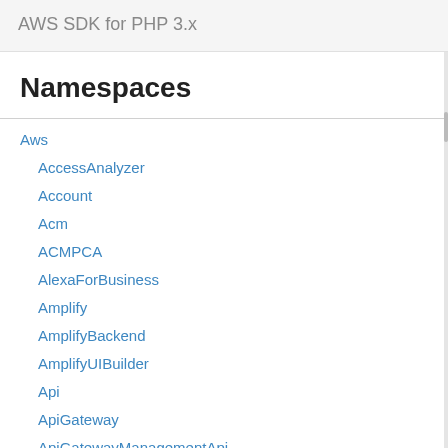AWS SDK for PHP 3.x
Namespaces
Aws
AccessAnalyzer
Account
Acm
ACMPCA
AlexaForBusiness
Amplify
AmplifyBackend
AmplifyUIBuilder
Api
ApiGateway
ApiGatewayManagementApi
The ID of the stack associated with.
SubnetIds
Type: Array of s
A list of subnet IDs, VPC.
VpcId
Type: string
The VPC ID.